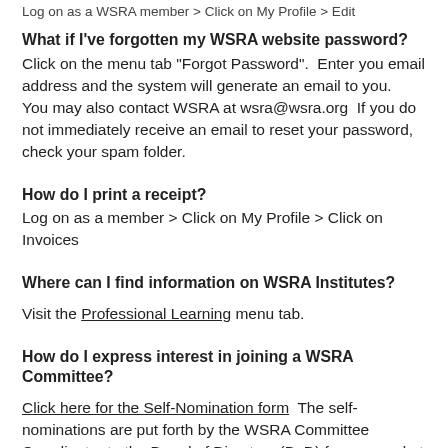Log on as a WSRA member > Click on My Profile > Edit
What if I've forgotten my WSRA website password?
Click on the menu tab "Forgot Password".  Enter you email address and the system will generate an email to you.  You may also contact WSRA at wsra@wsra.org  If you do not immediately receive an email to reset your password, check your spam folder.
How do I print a receipt?
Log on as a member > Click on My Profile > Click on  Invoices
Where can I find information on WSRA Institutes?
Visit the Professional Learning menu tab.
How do I express interest in joining a WSRA Committee?
Click here for the Self-Nomination form  The self-nominations are put forth by the WSRA Committee Coordinator to the Board of Directors (BoD) for approval at the Board of Directors' Leadership Meetings, which occur in July/August, September,